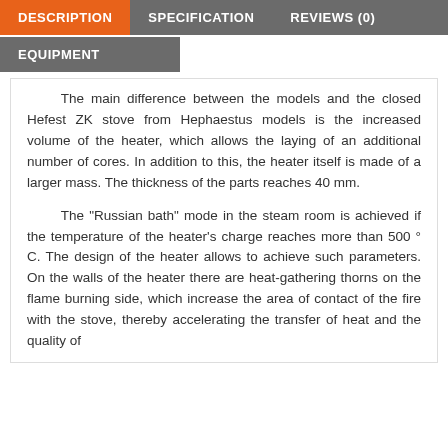DESCRIPTION | SPECIFICATION | REVIEWS (0)
EQUIPMENT
The main difference between the models and the closed Hefest ZK stove from Hephaestus models is the increased volume of the heater, which allows the laying of an additional number of cores. In addition to this, the heater itself is made of a larger mass. The thickness of the parts reaches 40 mm.
The "Russian bath" mode in the steam room is achieved if the temperature of the heater's charge reaches more than 500 ° C. The design of the heater allows to achieve such parameters. On the walls of the heater there are heat-gathering thorns on the flame burning side, which increase the area of contact of the fire with the stove, thereby accelerating the transfer of heat and the quality of